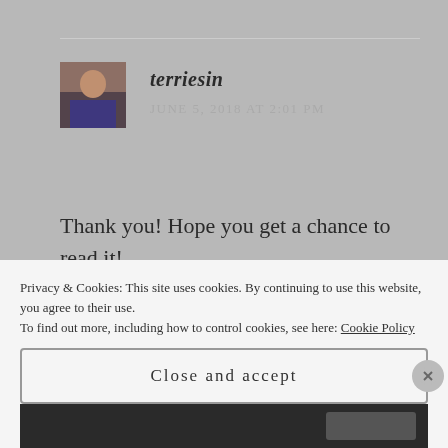terriesin
JUNE 5, 2018 AT 2:01 PM
Thank you! Hope you get a chance to read it!
Like
Privacy & Cookies: This site uses cookies. By continuing to use this website, you agree to their use.
To find out more, including how to control cookies, see here: Cookie Policy
Close and accept